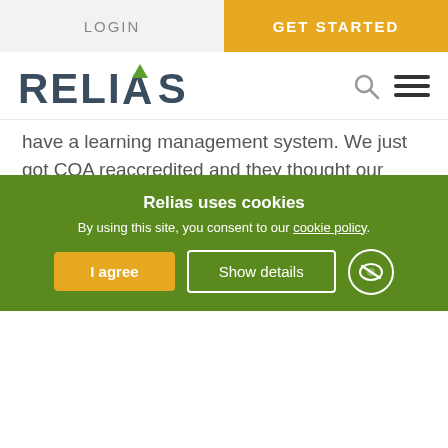LOGIN | GET STARTED
[Figure (logo): Relias logo with green arrow accent on the A, search icon and hamburger menu icon]
have a learning management system. We just got COA reaccredited and they thought our training was outstanding. Not one of those people had heard of Relias before.
Q. During reaccreditation, was tracking and reporting easy?
Relias uses cookies
By using this site, you consent to our cookie policy.
I agree   Show details